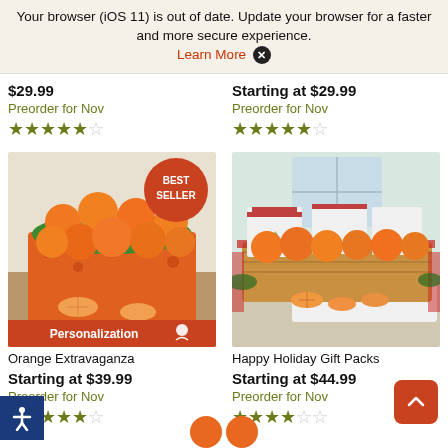Your browser (iOS 11) is out of date. Update your browser for a faster and more secure experience. Learn More ✕
$29.99
Preorder for Nov
★★★★½
Starting at $29.99
Preorder for Nov
★★★★½
[Figure (photo): Orange Extravaganza product image: a box of oranges arranged decoratively with green tissue paper, some halved, with a BEST SELLER badge and a Personalization bar at the bottom.]
[Figure (photo): Happy Holiday Gift Packs product image: a gift basket with oranges, red wrapped packages, and halved citrus fruits on a white tray.]
Orange Extravaganza
Starting at $39.99
Preorder for Nov
★★★★½
Happy Holiday Gift Packs
Starting at $44.99
Preorder for Nov
★★★★☆